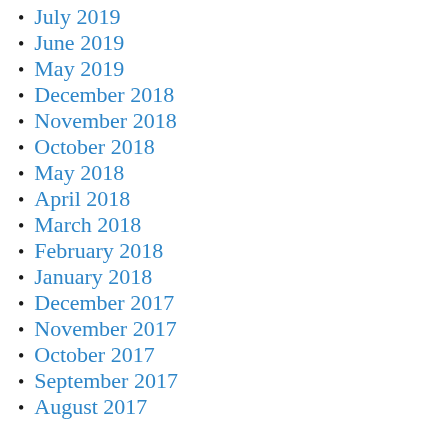July 2019
June 2019
May 2019
December 2018
November 2018
October 2018
May 2018
April 2018
March 2018
February 2018
January 2018
December 2017
November 2017
October 2017
September 2017
August 2017